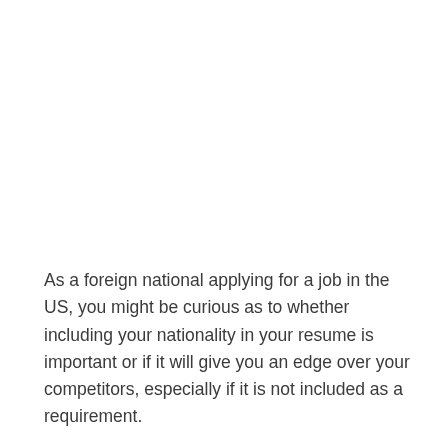As a foreign national applying for a job in the US, you might be curious as to whether including your nationality in your resume is important or if it will give you an edge over your competitors, especially if it is not included as a requirement.